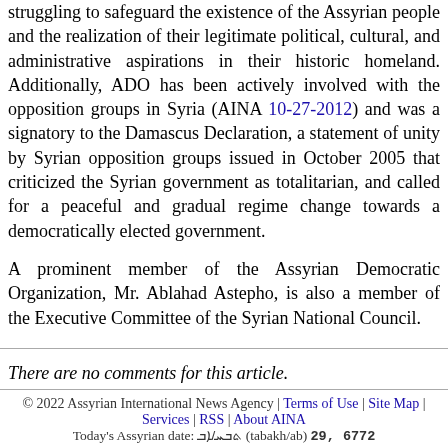struggling to safeguard the existence of the Assyrian people and the realization of their legitimate political, cultural, and administrative aspirations in their historic homeland. Additionally, ADO has been actively involved with the opposition groups in Syria (AINA 10-27-2012) and was a signatory to the Damascus Declaration, a statement of unity by Syrian opposition groups issued in October 2005 that criticized the Syrian government as totalitarian, and called for a peaceful and gradual regime change towards a democratically elected government.
A prominent member of the Assyrian Democratic Organization, Mr. Ablahad Astepho, is also a member of the Executive Committee of the Syrian National Council.
There are no comments for this article.
Login or register to post a comment.
© 2022 Assyrian International News Agency | Terms of Use | Site Map | Services | RSS | About AINA
Today's Assyrian date: (tabakh/ab) 29, 6772